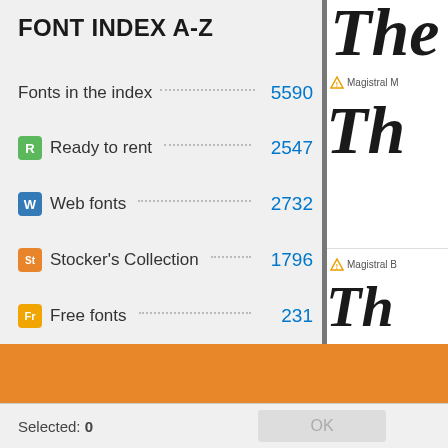FONT INDEX A-Z
Fonts in the index ... 5590
R  Ready to rent ... 2547
W  Web fonts ... 2732
St  Stocker's Collection ... 1796
Fr  Free fonts ... 231
By using Rentafont website, you agree to our use of cookies
Selected: 0
OK